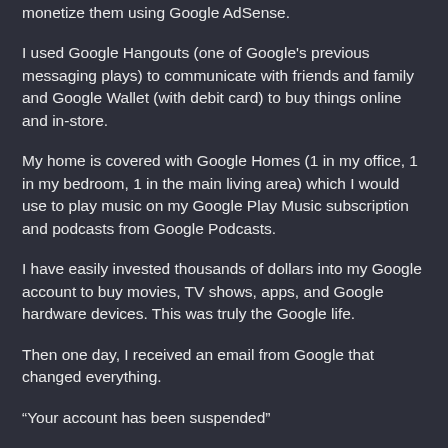monetize them using Google AdSense.
I used Google Hangouts (one of Google's previous messaging plays) to communicate with friends and family and Google Wallet (with debit card) to buy things online and in-store.
My home is covered with Google Homes (1 in my office, 1 in my bedroom, 1 in the main living area) which I would use to play music on my Google Play Music subscription and podcasts from Google Podcasts.
I have easily invested thousands of dollars into my Google account to buy movies, TV shows, apps, and Google hardware devices. This was truly the Google life.
Then one day, I received an email from Google that changed everything.
“Your account has been suspended”